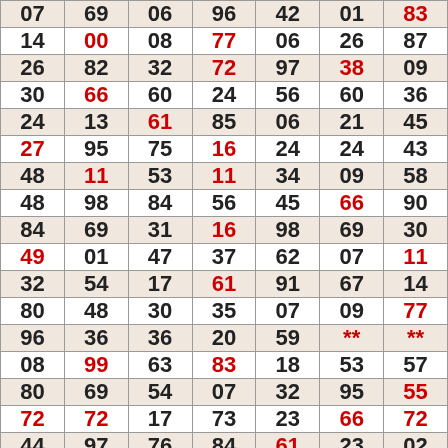| 07 | 69 | 06 | 96 | 42 | 01 | 83 |
| 14 | 00 | 08 | 77 | 06 | 26 | 87 |
| 26 | 82 | 32 | 72 | 97 | 38 | 09 |
| 30 | 66 | 60 | 24 | 56 | 60 | 36 |
| 24 | 13 | 61 | 85 | 06 | 21 | 45 |
| 27 | 95 | 75 | 16 | 24 | 24 | 43 |
| 48 | 11 | 53 | 11 | 34 | 09 | 58 |
| 48 | 98 | 84 | 56 | 45 | 66 | 90 |
| 84 | 69 | 31 | 16 | 98 | 69 | 30 |
| 49 | 01 | 47 | 37 | 62 | 07 | 11 |
| 32 | 54 | 17 | 61 | 91 | 67 | 14 |
| 80 | 48 | 30 | 35 | 07 | 09 | 77 |
| 96 | 36 | 36 | 20 | 59 | ** | ** |
| 08 | 99 | 63 | 83 | 18 | 53 | 57 |
| 80 | 69 | 54 | 07 | 32 | 95 | 55 |
| 72 | 72 | 17 | 73 | 23 | 66 | 72 |
| 44 | 97 | 76 | 84 | 61 | 23 | 02 |